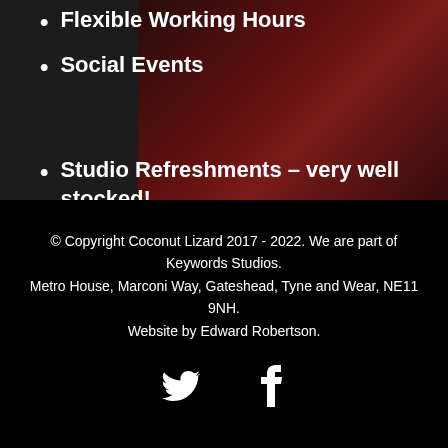Flexible Working Hours
Social Events
Studio Refreshments – very well stocked!
© Copyright Coconut Lizard 2017 - 2022. We are part of Keywords Studios.
Metro House, Marconi Way, Gateshead, Tyne and Wear, NE11 9NH.
Website by Edward Robertson.
[Figure (illustration): Twitter bird icon and Facebook 'f' icon in white on black background]